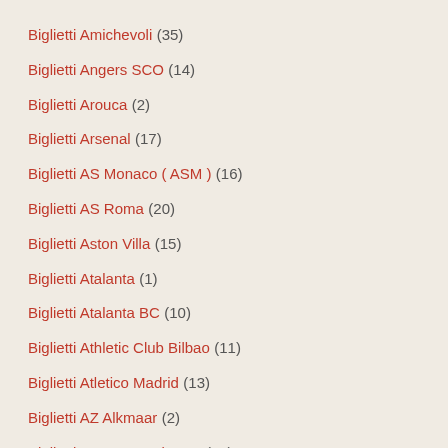Biglietti Amichevoli (35)
Biglietti Angers SCO (14)
Biglietti Arouca (2)
Biglietti Arsenal (17)
Biglietti AS Monaco ( ASM ) (16)
Biglietti AS Roma (20)
Biglietti Aston Villa (15)
Biglietti Atalanta (1)
Biglietti Atalanta BC (10)
Biglietti Athletic Club Bilbao (11)
Biglietti Atletico Madrid (13)
Biglietti AZ Alkmaar (2)
Biglietti Bayer Leverkusen (13)
Biglietti Bayern Monaco (10)
Biglietti Boavista FC (7)